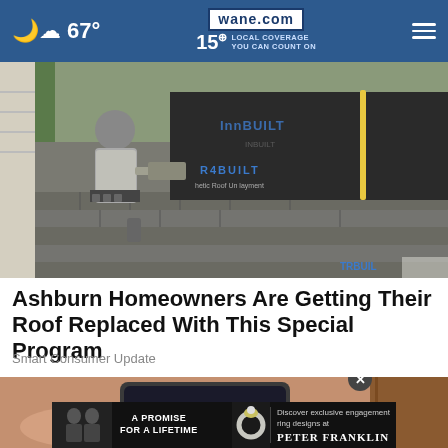67° | wane.com 15 LOCAL COVERAGE YOU CAN COUNT ON
[Figure (photo): A roofer working on a roof, installing shingles over synthetic roof underlayment labeled 'InnBUILT Synthetic Roof Underlayment']
Ashburn Homeowners Are Getting Their Roof Replaced With This Special Program
Smart Consumer Update
[Figure (photo): Close-up photo of hands holding a smartphone]
[Figure (advertisement): Ad banner: 'A PROMISE FOR A LIFETIME' with Peter Franklin jewelry advertisement. Text reads: Discover exclusive engagement ring designs at PETER FRANKLIN]